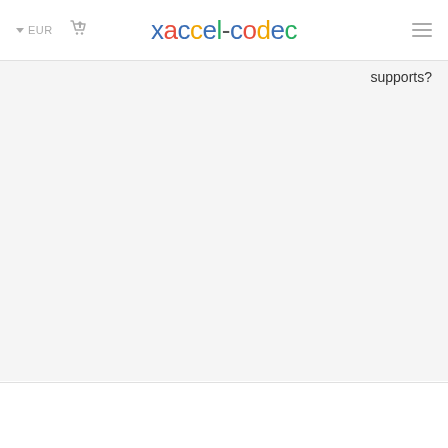EUR  xaccel-codec  ?supports
?supports